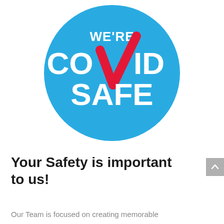[Figure (logo): We're COVID Safe logo: a blue circle with white bold text reading WE'RE COVID SAFE and a large red checkmark replacing the V in COVID]
Your Safety is important to us!
Our Team is focused on creating memorable